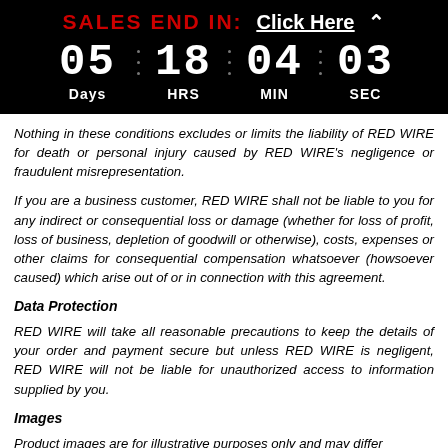SALES END IN: Click Here
[Figure (infographic): Countdown timer showing 05 Days, 18 HRS, 04 MIN, 03 SEC on black background]
Nothing in these conditions excludes or limits the liability of RED WIRE for death or personal injury caused by RED WIRE's negligence or fraudulent misrepresentation.
If you are a business customer, RED WIRE shall not be liable to you for any indirect or consequential loss or damage (whether for loss of profit, loss of business, depletion of goodwill or otherwise), costs, expenses or other claims for consequential compensation whatsoever (howsoever caused) which arise out of or in connection with this agreement.
Data Protection
RED WIRE will take all reasonable precautions to keep the details of your order and payment secure but unless RED WIRE is negligent, RED WIRE will not be liable for unauthorized access to information supplied by you.
Images
Product images are for illustrative purposes only and may differ